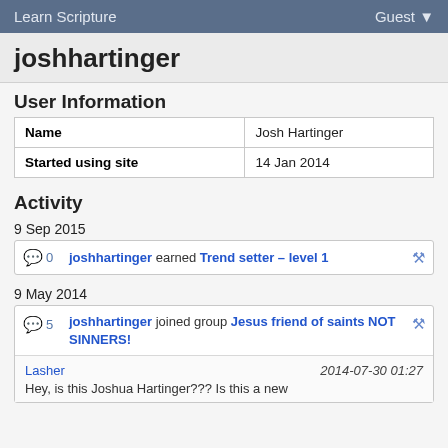Learn Scripture   Guest
joshhartinger
User Information
| Name | Josh Hartinger |
| --- | --- |
| Started using site | 14 Jan 2014 |
Activity
9 Sep 2015
joshhartinger earned Trend setter – level 1  [comment icon: 0]
9 May 2014
joshhartinger joined group Jesus friend of saints NOT SINNERS! [comment icon: 5]
Lasher   2014-07-30 01:27
Hey, is this Joshua Hartinger??? Is this a new